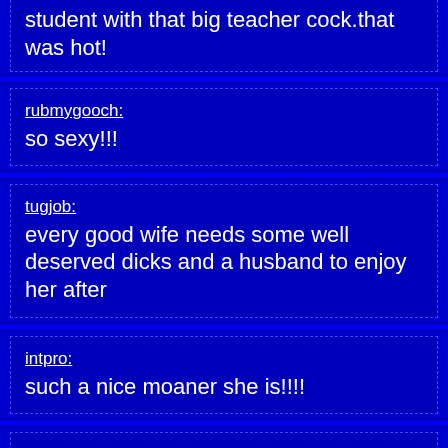student with that big teacher cock.that was hot!
rubmygooch:
so sexy!!!
tugjob:
every good wife needs some well deserved dicks and a husband to enjoy her after
intpro:
such a nice moaner she is!!!!
kinkyolebiker:
ugh fuck, so cute, wish i knew her name